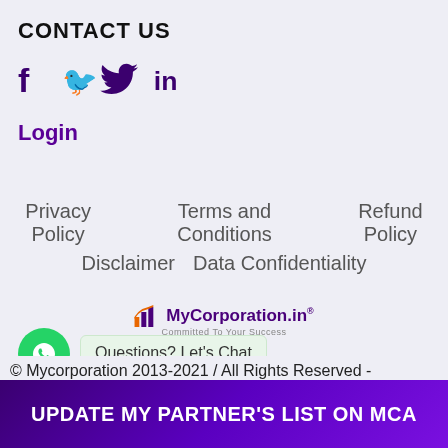CONTACT US
[Figure (illustration): Social media icons: Facebook (f), Twitter (bird), LinkedIn (in) in dark purple]
Login
Privacy Policy   Terms and Conditions   Refund Policy
Disclaimer   Data Confidentiality
[Figure (logo): MyCorporation.in logo with bar chart icon and tagline 'Committed To Your Success']
[Figure (illustration): WhatsApp green circle button icon]
Questions? Let's Chat
© Mycorporation 2013-2021 / All Rights Reserved -
UPDATE MY PARTNER'S LIST ON MCA